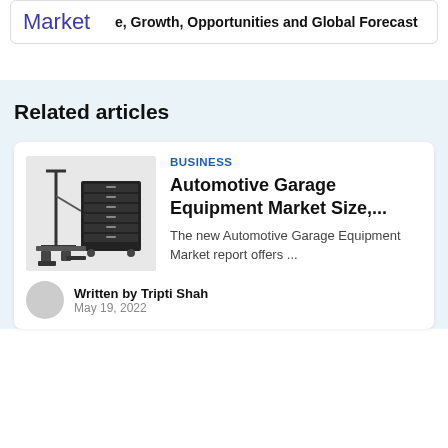Market  e, Growth, Opportunities and Global Forecast
Related articles
BUSINESS
Automotive Garage Equipment Market Size,...
The new Automotive Garage Equipment Market report offers ...
Written by Tripti Shah
May 19, 2022